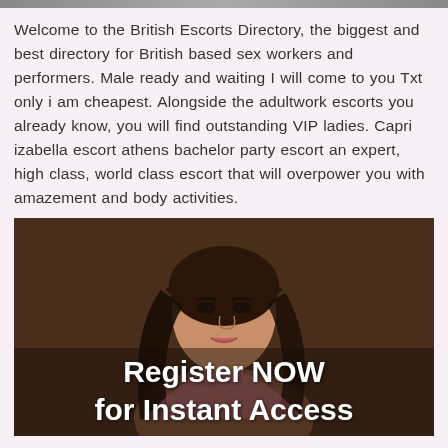Welcome to the British Escorts Directory, the biggest and best directory for British based sex workers and performers. Male ready and waiting I will come to you Txt only i am cheapest. Alongside the adultwork escorts you already know, you will find outstanding VIP ladies. Capri izabella escort athens bachelor party escort an expert, high class, world class escort that will overpower you with amazement and body activities.
[Figure (photo): Dark-toned photo of a young woman with long dark hair, wearing a pink top, looking at the camera. Overlay text reads 'Register NOW for Instant Access'.]